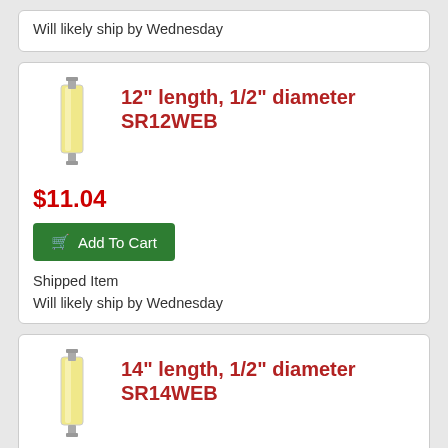Will likely ship by Wednesday
12" length, 1/2" diameter SR12WEB
$11.04
Add To Cart
Shipped Item
Will likely ship by Wednesday
14" length, 1/2" diameter SR14WEB
$13.26